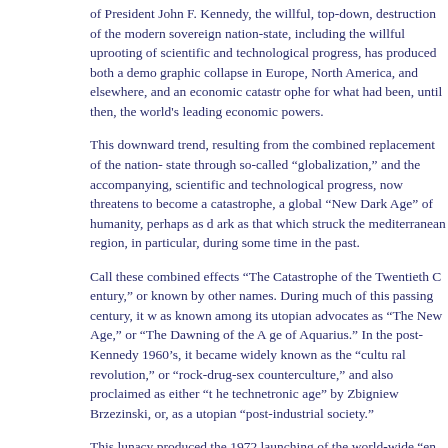of President John F. Kennedy, the willful, top-down, destruction of the modern sovereign nation-state, including the willful uprooting of scientific and technological progress, has produced both a demographic collapse in Europe, North America, and elsewhere, and an economic catastrophe for what had been, until then, the world's leading economic powers.
This downward trend, resulting from the combined replacement of the nation-state through so-called "globalization," and the accompanying, willful destruction of scientific and technological progress, now threatens to become a global catastrophe, a global "New Dark Age" of humanity, perhaps as dark as that which struck the mediterranean region, in particular, during some time in the past.
Call these combined effects "The Catastrophe of the Twentieth Century," or known by other names. During much of this passing century, it was known among its utopian advocates as "The New Age," or "The Dawning of the Age of Aquarius." In the post-Kennedy 1960's, it became widely known as the "cultural revolution," or "rock-drug-sex counterculture," and also proclaimed as either "the technetronic age" by Zbigniew Brzezinski, or, as a utopian "post-industrial society."
This lunacy produced the 1972 launching of the world-wide "environmentalist" conspiracy, in furtherance of the aims of the World Wildlife Fund (WWF), which was founded in 1961 by Prince Philip of England and Nazi SS veteran Prince Bernhard of The Netherlands. This produced such dangerous military lunacies as those of Al Gore, and the Tofflers as "The Third Wave" and "Air-Land Battle" and related programs leading into the recent Littleton horror, too.